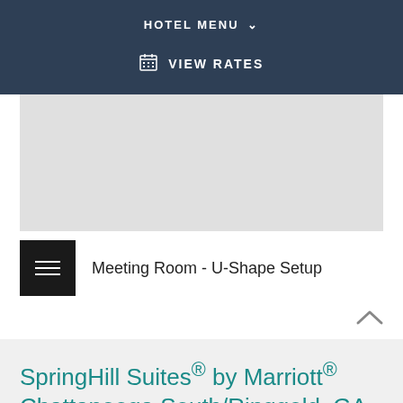HOTEL MENU
VIEW RATES
[Figure (photo): Gray placeholder image area representing a meeting room photo]
Meeting Room - U-Shape Setup
SpringHill Suites® by Marriott® Chattanooga South/Ringgold, GA